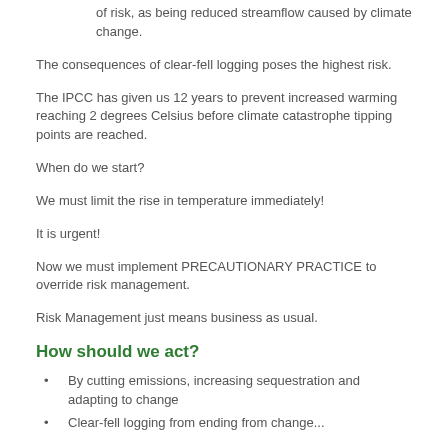of risk, as being reduced streamflow caused by climate change.
The consequences of clear-fell logging poses the highest risk.
The IPCC has given us 12 years to prevent increased warming reaching 2 degrees Celsius before climate catastrophe tipping points are reached.
When do we start?
We must limit the rise in temperature immediately!
It is urgent!
Now we must implement PRECAUTIONARY PRACTICE to override risk management.
Risk Management just means business as usual.
How should we act?
By cutting emissions, increasing sequestration and adapting to change
Clear-fell logging from ending from change...